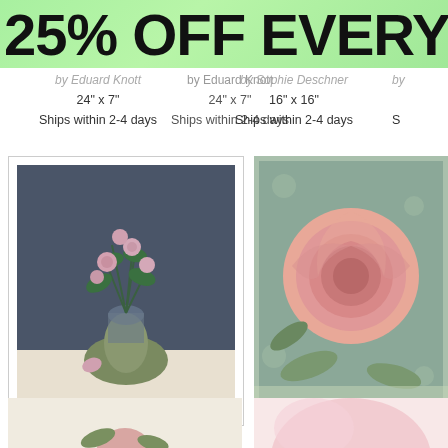25% OFF EVERYTH
by Eduard Knott
24" x 7"
Ships within 2-4 days
by Sophie Deschner
16" x 16"
Ships within 2-4 days
[Figure (photo): Moss Roses in a Vase, 1882 painting by Edouard Manet - pink roses in a glass vase]
[Figure (photo): Rose on Sage - vintage style pink rose on sage green background by Danhui Nai]
[Figure (photo): Close-Up of pink rose petals]
Moss Roses in a Vase, 1882
by Edouard Manet
18" x 24"
Ships within 2-4 days
Rose on Sage
by Danhui Nai
20" x 25"
Ships within 2-4 days
Close-Up o
by Lisa
Sh
[Figure (photo): Partial bottom image - vintage botanical rose illustration]
[Figure (photo): Partial bottom image - close-up of pink rose/hand]